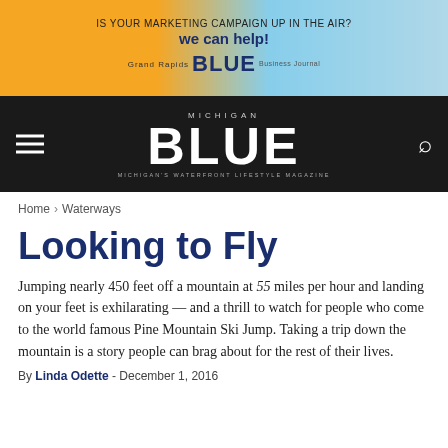[Figure (other): Advertisement banner for Michigan Blue magazine. Text reads: IS YOUR MARKETING CAMPAIGN UP IN THE AIR? we can help! Grand Rapids BLUE Business Journal. Orange and blue gradient background.]
MICHIGAN BLUE — Michigan's Waterfront Lifestyle Magazine. Navigation bar with hamburger menu and search icon.
Home › Waterways
Looking to Fly
Jumping nearly 450 feet off a mountain at 55 miles per hour and landing on your feet is exhilarating — and a thrill to watch for people who come to the world famous Pine Mountain Ski Jump. Taking a trip down the mountain is a story people can brag about for the rest of their lives.
By Linda Odette - December 1, 2016